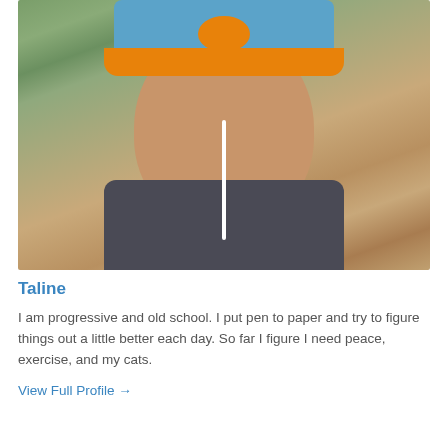[Figure (photo): Selfie photo of a woman named Taline wearing a blue and orange cap with earbuds, smiling at the camera outdoors on a dirt/grass background, wearing a dark gray hoodie.]
Taline
I am progressive and old school. I put pen to paper and try to figure things out a little better each day. So far I figure I need peace, exercise, and my cats.
View Full Profile →